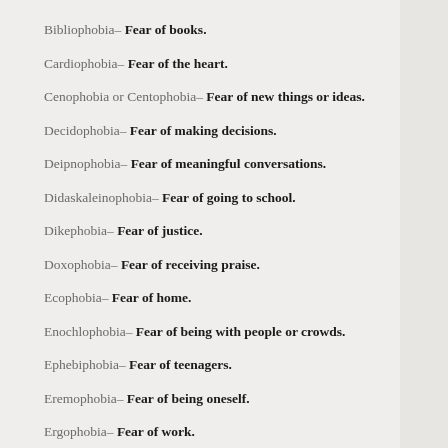Bibliophobia– Fear of books.
Cardiophobia– Fear of the heart.
Cenophobia or Centophobia– Fear of new things or ideas.
Decidophobia– Fear of making decisions.
Deipnophobia– Fear of meaningful conversations.
Didaskaleinophobia– Fear of going to school.
Dikephobia– Fear of justice.
Doxophobia– Fear of receiving praise.
Ecophobia– Fear of home.
Enochlophobia– Fear of being with people or crowds.
Ephebiphobia– Fear of teenagers.
Eremophobia– Fear of being oneself.
Ergophobia– Fear of work.